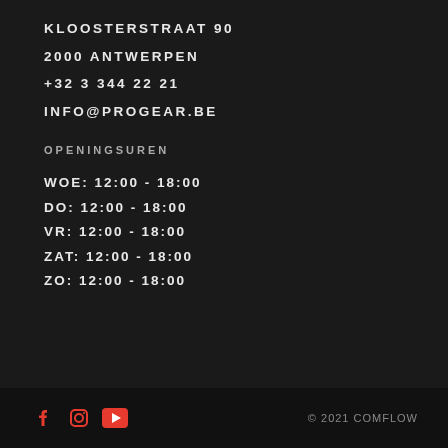KLOOSTERSTRAAT 90
2000 ANTWERPEN
+32 3 344 22 21
INFO@PROGEAR.BE
OPENINGSUREN
WOE: 12:00 - 18:00
DO: 12:00 - 18:00
VR: 12:00 - 18:00
ZAT: 12:00 - 18:00
ZO: 12:00 - 18:00
© 2021 COMFLOW